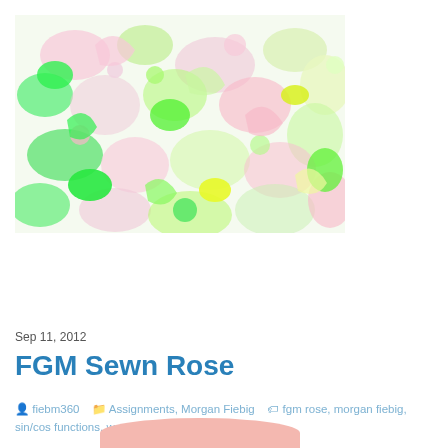[Figure (illustration): Abstract colorful image with pink, green, yellow-green, and white blotchy paint-like patterns resembling a floral or organic texture.]
Sep 11, 2012
FGM Sewn Rose
fiebm360  Assignments, Morgan Fiebig  fgm rose, morgan fiebig, sin/cos functions, week 2  0 Comment